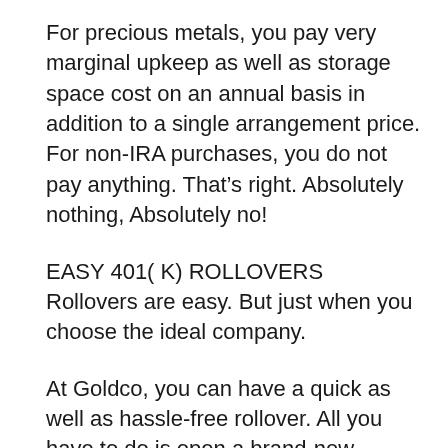For precious metals, you pay very marginal upkeep as well as storage space cost on an annual basis in addition to a single arrangement price. For non-IRA purchases, you do not pay anything. That’s right. Absolutely nothing, Absolutely no!
EASY 401( K) ROLLOVERS
Rollovers are easy. But just when you choose the ideal company.
At Goldco, you can have a quick as well as hassle-free rollover. All you have to do is open a brand-new Goldco Valuable Metals Individual Retirement Account, as well as the business rep will aid you recognize ways to money your rare-earth element individual